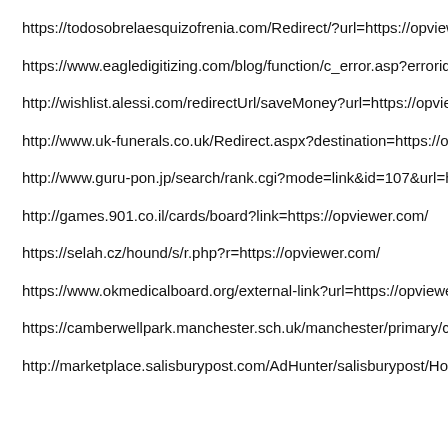https://todosobrelaesquizofrenia.com/Redirect/?url=https://opviewe
https://www.eagledigitizing.com/blog/function/c_error.asp?errorid=3
http://wishlist.alessi.com/redirectUrl/saveMoney?url=https://opview
http://www.uk-funerals.co.uk/Redirect.aspx?destination=https://opvi
http://www.guru-pon.jp/search/rank.cgi?mode=link&id=107&url=http
http://games.901.co.il/cards/board?link=https://opviewer.com/
https://selah.cz/hound/s/r.php?r=https://opviewer.com/
https://www.okmedicalboard.org/external-link?url=https://opviewer.
https://camberwellpark.manchester.sch.uk/manchester/primary/cam
http://marketplace.salisburypost.com/AdHunter/salisburypost/Hom